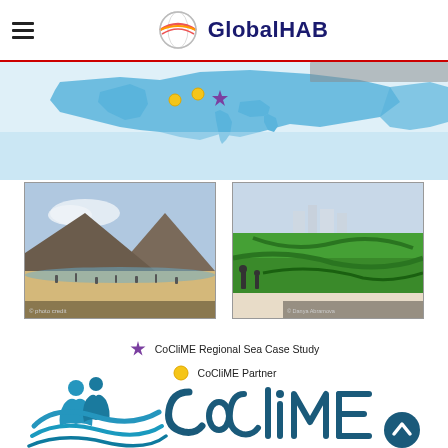GlobalHAB
[Figure (map): Map of Europe and surrounding seas with CoCliME case study and partner locations marked by purple stars and yellow dots]
[Figure (photo): Photo of a sandy beach with people and a rocky hill in the background]
[Figure (photo): Photo of a shoreline with green algae/cyanobacteria bloom in the water]
CoCliME Regional Sea Case Study
CoCliME Partner
[Figure (logo): CoCliME logo with teal figures and wave graphic alongside the CoCliME text logo in dark teal]